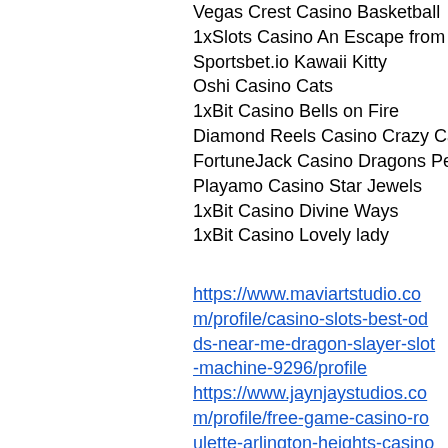Vegas Crest Casino Basketball
1xSlots Casino An Escape from Alcatraz
Sportsbet.io Kawaii Kitty
Oshi Casino Cats
1xBit Casino Bells on Fire
Diamond Reels Casino Crazy Camel Cash
FortuneJack Casino Dragons Pearl
Playamo Casino Star Jewels
1xBit Casino Divine Ways
1xBit Casino Lovely lady
https://www.maviartstudio.com/profile/casino-slots-best-odds-near-me-dragon-slayer-slot-machine-9296/profile
https://www.jaynjaystudios.com/profile/free-game-casino-roulette-arlington-heights-casino-party-games-3522/profile
https://www.rebrand-croatia.com/profile/free-casino-app-google-play-casino-slots-free-no-deposit-5910/profile
https://www.integrityundergroundinc.com/pro